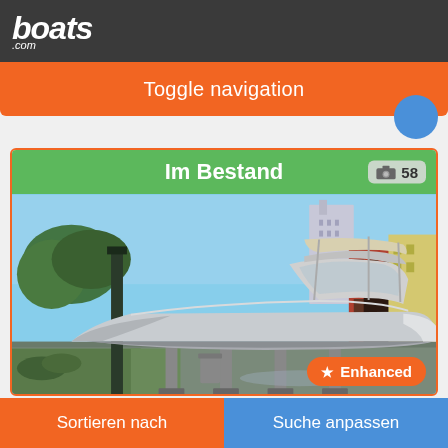boats.com
Toggle navigation
[Figure (photo): A gray center console boat displayed on boat stands in a marina yard, with city buildings, palm trees, and a red brick building visible in the background. Green 'Im Bestand' (In Stock) header bar with camera icon showing 58 photos. Orange 'Enhanced' badge at bottom right.]
Sortieren nach
Suche anpassen